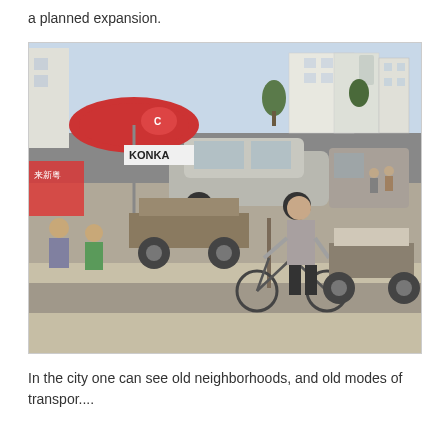a planned expansion.
[Figure (photo): Street scene in a Chinese city showing a man pushing a bicycle cart loaded with goods, street vendors with carts under a KONKA umbrella, cars parked along the road, and multi-story buildings in the background.]
In the city one can see old neighborhoods, and old modes of transpor....